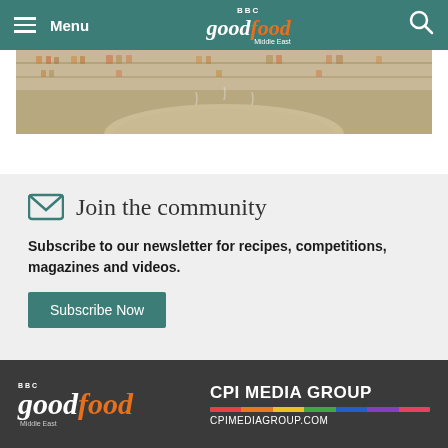Menu | BBC Good Food Middle East
[Figure (photo): Interior photo of a restaurant or cafe with shelving and a circular table]
Join the community
Subscribe to our newsletter for recipes, competitions, magazines and videos.
Subscribe Now
BBC Good Food Middle East | CPI MEDIA GROUP cpimediagroup.com